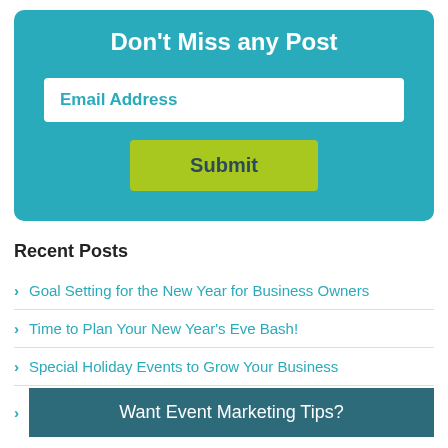Don't Miss any Post
Email Address
Submit
Recent Posts
Goal Setting for the New Year for Business Owners
Time to Plan Your New Year's Eve Bash!
Special Holiday Events to Grow Your Business
Want Event Marketing Tips?